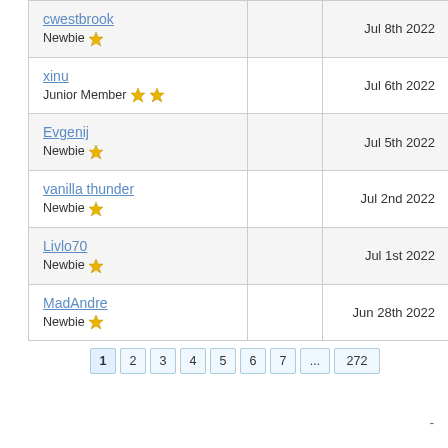| User |  | Date |
| --- | --- | --- |
| cwestbrook
Newbie ★ |  | Jul 8th 2022 |
| xinu
Junior Member ★★ |  | Jul 6th 2022 |
| Evgenij
Newbie ★ |  | Jul 5th 2022 |
| vanilla thunder
Newbie ★ |  | Jul 2nd 2022 |
| Livlo70
Newbie ★ |  | Jul 1st 2022 |
| MadAndre
Newbie ★ |  | Jun 28th 2022 |
Pagination: 1 2 3 4 5 6 7 ... 272
-